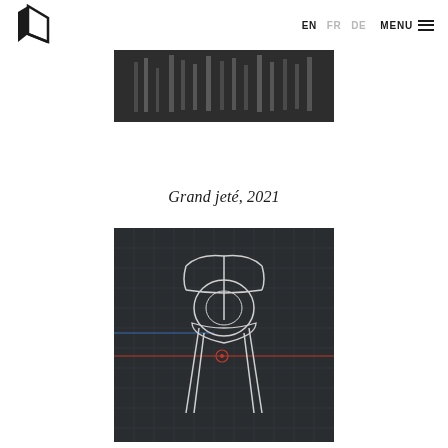EN FR DE MENU
[Figure (screenshot): Dark background image showing vertical spike-like shapes, resembling a waveform or architectural element, cropped at top.]
Grand jeté, 2021
[Figure (screenshot): Dark grid/3D viewport background showing a wireframe outline drawing of a stool or chair, with a red horizontal axis line passing through the center.]